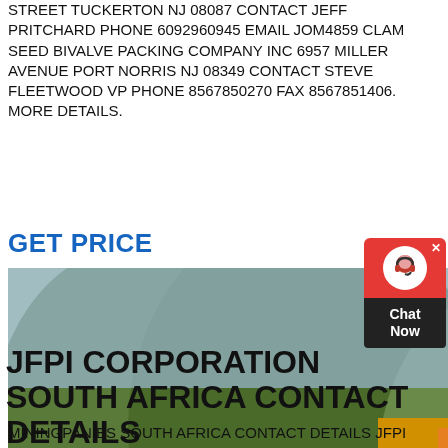STREET TUCKERTON NJ 08087 CONTACT JEFF PRITCHARD PHONE 6092960945 EMAIL JOM4859 CLAM SEED BIVALVE PACKING COMPANY INC 6957 MILLER AVENUE PORT NORRIS NJ 08349 CONTACT STEVE FLEETWOOD VP PHONE 8567850270 FAX 8567851406. MORE DETAILS.
GET PRICE
[Figure (photo): Industrial jaw crusher / mining machinery with large flywheel, yellow frame, blue motor, mounted outdoors with green mountain background]
[Figure (other): Chat Now widget button with red icon box showing headset/person icon and dark bottom box labelled Chat Now, with X close button]
JFPI CORPORATION SOUTH AFRICA CONTACT DETAILS
MININGPANIES SOUTH AFRICA CONTACT DETAILS JFPI